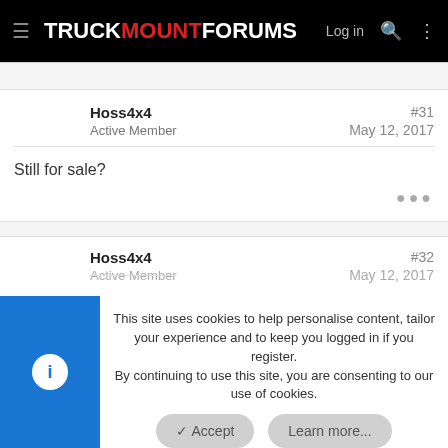TRUCKMOUNTFORUMS — Log in
Hoss4x4
Active Member
#31
May 12, 2017
Still for sale?
Hoss4x4
Active Member
#32
May 12, 2017
This site uses cookies to help personalise content, tailor your experience and to keep you logged in if you register. By continuing to use this site, you are consenting to our use of cookies.